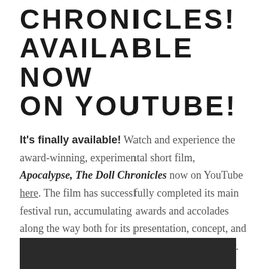CHRONICLES! AVAILABLE NOW ON YOUTUBE!
It's finally available! Watch and experience the award-winning, experimental short film, Apocalypse, The Doll Chronicles now on YouTube here. The film has successfully completed its main festival run, accumulating awards and accolades along the way both for its presentation, concept, and soundtrack, and it's out now for everyone to enjoy. Check it out:
[Figure (screenshot): Dark/black video player thumbnail at the bottom of the page]